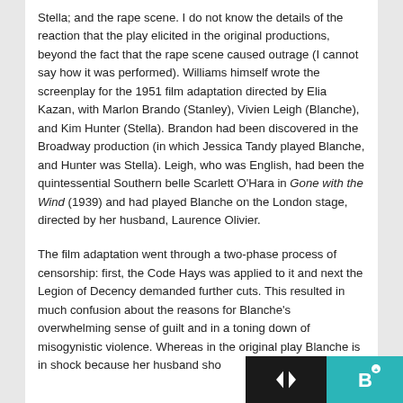Stella; and the rape scene. I do not know the details of the reaction that the play elicited in the original productions, beyond the fact that the rape scene caused outrage (I cannot say how it was performed). Williams himself wrote the screenplay for the 1951 film adaptation directed by Elia Kazan, with Marlon Brando (Stanley), Vivien Leigh (Blanche), and Kim Hunter (Stella). Brandon had been discovered in the Broadway production (in which Jessica Tandy played Blanche, and Hunter was Stella). Leigh, who was English, had been the quintessential Southern belle Scarlett O'Hara in Gone with the Wind (1939) and had played Blanche on the London stage, directed by her husband, Laurence Olivier.
The film adaptation went through a two-phase process of censorship: first, the Code Hays was applied to it and next the Legion of Decency demanded further cuts. This resulted in much confusion about the reasons for Blanche's overwhelming sense of guilt and in a toning down of misogynistic violence. Whereas in the original play Blanche is in shock because her husband sho...